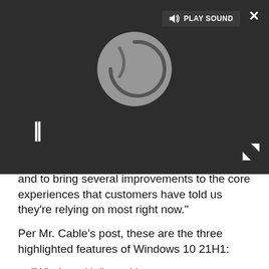[Figure (screenshot): Video player overlay with dark background, loading spinner circle, pause button (||), Play Sound button with speaker icon in top area, close (X) button top right, expand arrows button bottom right]
...and to bring several improvements to the core experiences that customers have told us they're relying on most right now."
Per Mr. Cable's post, these are the three highlighted features of Windows 10 21H1:
"Windows Hello multicamera support to set the default as the external camera when both external and internal Windows Hello cameras are present."
"Windows Defender Application Guard performance improvements including optimizing document opening scenario times."